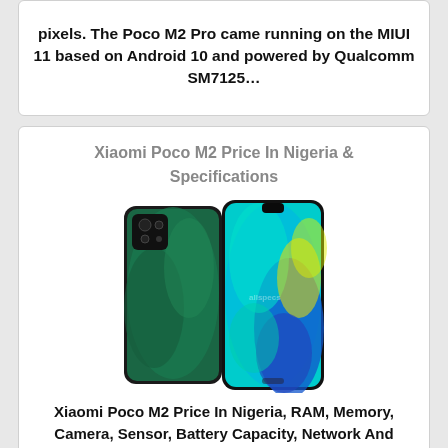pixels. The Poco M2 Pro came running on the MIUI 11 based on Android 10 and powered by Qualcomm SM7125…
Xiaomi Poco M2 Price In Nigeria & Specifications
[Figure (photo): Xiaomi Poco M2 smartphone shown from back and front, featuring a teal/blue swirl pattern on the back and a large display on the front]
Xiaomi Poco M2 Price In Nigeria, RAM, Memory, Camera, Sensor, Battery Capacity, Network And Other Specifications Xiaomi Poco M2 Price In Nigeria & Specifications, Features, Review Xiaomi Poco M2 comes with 6.53-inch IPS LCD screen...